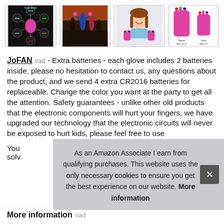[Figure (photo): Four product images of LED light-up gloves: diagram showing 6 light modes on black background with pink glove, group of kids outdoors at sunset, smiling girl wearing gloves, and size comparison chart for teen and kids sizes]
JoFAN #ad - Extra batteries - each glove includes 2 batteries inside, please no hesitation to contact us, any questions about the product, and we send 4 extra CR2016 batteries for replaceable. Change the color you want at the party to get all the attention. Safety guarantees - unlike other old products that the electronic components will hurt your fingers, we have upgraded our technology that the electronic circuits will never be exposed to hurt kids, please feel free to use
You solv
As an Amazon Associate I earn from qualifying purchases. This website uses the only necessary cookies to ensure you get the best experience on our website. More information
More information #ad